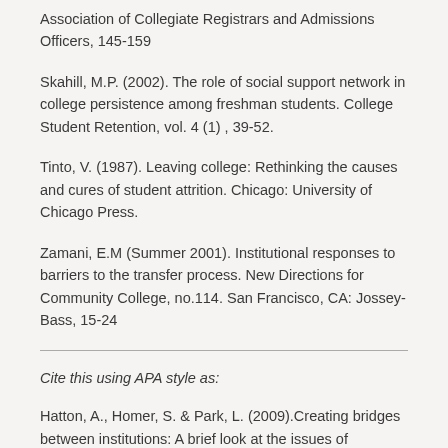Association of Collegiate Registrars and Admissions Officers, 145-159
Skahill, M.P. (2002). The role of social support network in college persistence among freshman students. College Student Retention, vol. 4 (1) , 39-52.
Tinto, V. (1987). Leaving college: Rethinking the causes and cures of student attrition. Chicago: University of Chicago Press.
Zamani, E.M (Summer 2001). Institutional responses to barriers to the transfer process. New Directions for Community College, no.114. San Francisco, CA: Jossey-Bass, 15-24
Cite this using APA style as:
Hatton, A., Homer, S. & Park, L. (2009).Creating bridges between institutions: A brief look at the issues of...